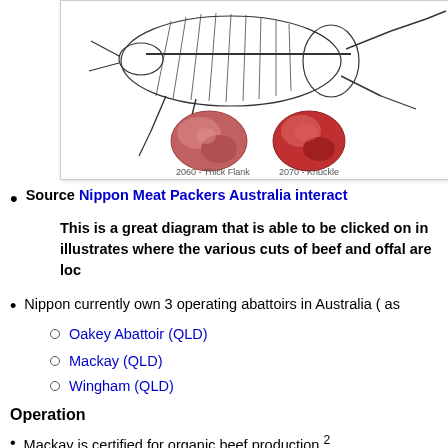[Figure (illustration): Diagram of beef/cattle cuts showing skeleton and meat portions including 2060 - Thick Flank and 2070 - Knuckle labeled cuts with photographs of the meat pieces]
Source Nippon Meat Packers Australia interact...
This is a great diagram that is able to be clicked on in... illustrates where the various cuts of beef and offal are loc...
Nippon currently own 3 operating abattoirs in Australia ( as...
Oakey Abattoir (QLD)
Mackay (QLD)
Wingham (QLD)
Operation
Mackay is certified for organic beef production.²
Specialising in high quality, chilled grass fed beef
Cattle are sourced from mainly Central QLD